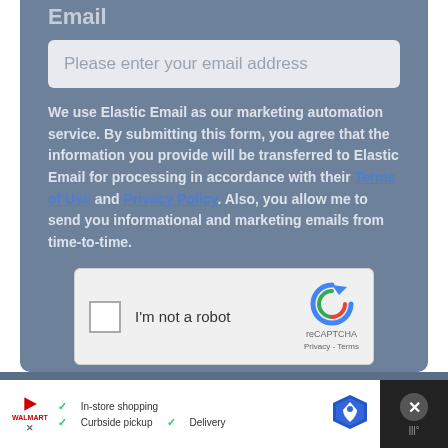Email
Please enter your email address
We use Elastic Email as our marketing automation service. By submitting this form, you agree that the information you provide will be transferred to Elastic Email for processing in accordance with their Terms of Use and Privacy Policy. Also, you allow me to send you informational and marketing emails from time-to-time.
[Figure (screenshot): reCAPTCHA widget with checkbox 'I'm not a robot' and Google reCAPTCHA logo]
SUBSCRIBE
[Figure (screenshot): Advertisement banner: In-store shopping, Curbside pickup, Delivery with map icon and close button]